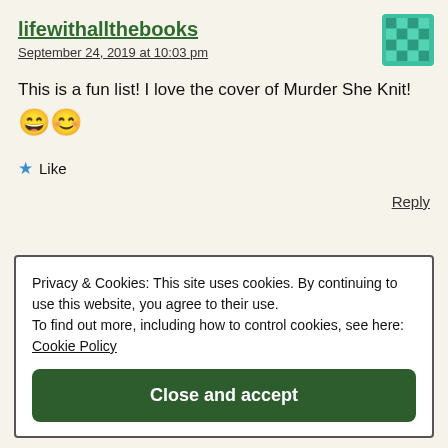lifewithallthebooks
September 24, 2019 at 10:03 pm
This is a fun list! I love the cover of Murder She Knit! 😄😊
★ Like
Reply
Privacy & Cookies: This site uses cookies. By continuing to use this website, you agree to their use. To find out more, including how to control cookies, see here: Cookie Policy
Close and accept